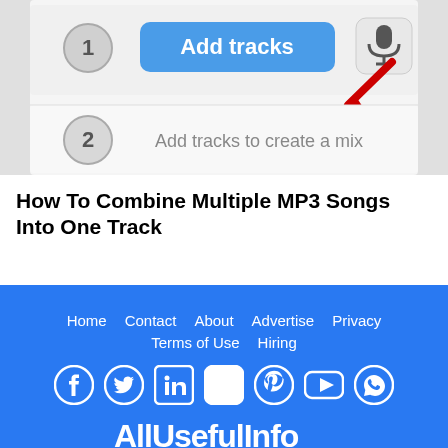[Figure (screenshot): Screenshot of an app interface showing 'Add tracks' button with a red arrow pointing to a microphone icon, and item 2 labeled 'Add tracks to create a mix']
How To Combine Multiple MP3 Songs Into One Track
Home  Contact  About  Advertise  Privacy  Terms of Use  Hiring  [social icons: Facebook, Twitter, LinkedIn, Instagram, Pinterest, YouTube, WhatsApp]  AllUsefulInfo